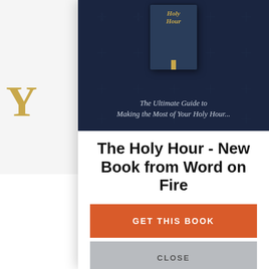[Figure (screenshot): Left background area showing partial webpage with gold 'Y' letter, video thumbnail with plant/indoor scene, accessibility button, play button, comments bar with icon, and partial article text about Jesus Christ and Catholic]
[Figure (illustration): Book cover of 'Holy Hour' shown on dark navy background with decorative star pattern and gold text reading 'The Ultimate Guide to Making the Most of Your Holy Hour...']
The Holy Hour - New Book from Word on Fire
GET THIS BOOK
CLOSE